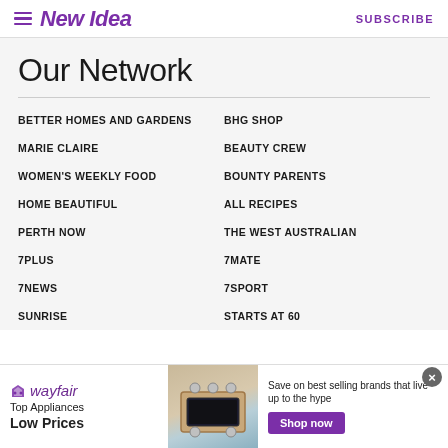New Idea | SUBSCRIBE
Our Network
BETTER HOMES AND GARDENS
BHG SHOP
MARIE CLAIRE
BEAUTY CREW
WOMEN'S WEEKLY FOOD
BOUNTY PARENTS
HOME BEAUTIFUL
ALL RECIPES
PERTH NOW
THE WEST AUSTRALIAN
7PLUS
7MATE
7NEWS
7SPORT
SUNRISE
STARTS AT 60
[Figure (screenshot): Wayfair advertisement banner: Top Appliances Low Prices, stove image, Shop now button]